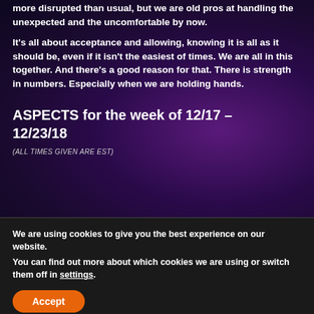more disrupted than usual, but we are old pros at handling the unexpected and the uncomfortable by now.
It's all about acceptance and allowing, knowing it is all as it should be, even if it isn't the easiest of times. We are all in this together. And there's a good reason for that. There is strength in numbers. Especially when we are holding hands.
ASPECTS for the week of 12/17 – 12/23/18
(ALL TIMES GIVEN ARE EST)
We are using cookies to give you the best experience on our website.
You can find out more about which cookies we are using or switch them off in settings.
Accept